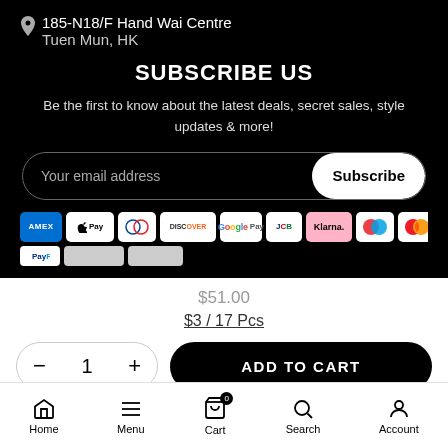185-N18/F Hand Wai Centre
Tuen Mun, HK
SUBSCRIBE US
Be the first to know about the latest deals, secret sales, style updates & more!
[Figure (screenshot): Email subscription form with 'Your email address' input field and 'Subscribe' button]
[Figure (infographic): Payment method icons: AMEX, Apple Pay, Diners, Discover, Google Pay, JCB, Klarna, Maestro, Mastercard, PayPal and others]
$51.00
$3 / 17 Pcs
ADD TO CART
Home  Menu  Cart  Search  Account